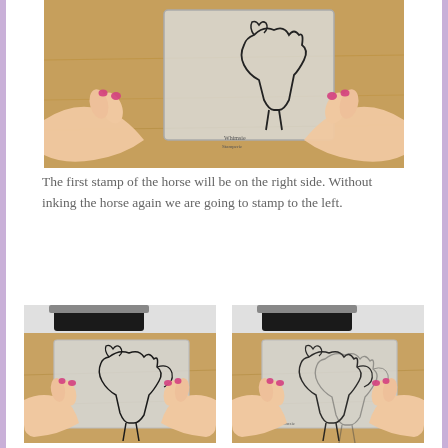[Figure (photo): Hands with pink nail polish holding a clear acrylic stamp block with a horse stamp on a wooden surface]
The first stamp of the horse will be on the right side. Without inking the horse again we are going to stamp to the left.
[Figure (photo): Hands holding a clear acrylic block with a running horse stamp positioned over a wood surface, ink pad visible in background]
[Figure (photo): Hands holding a clear acrylic block showing ghosted double-stamped running horses, ink pad visible in background]